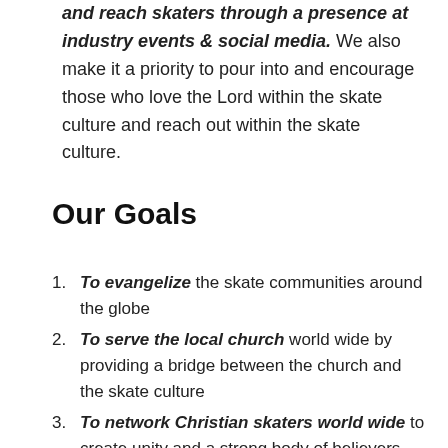and reach skaters through a presence at industry events & social media. We also make it a priority to pour into and encourage those who love the Lord within the skate culture and reach out within the skate culture.
Our Goals
To evangelize the skate communities around the globe
To serve the local church world wide by providing a bridge between the church and the skate culture
To network Christian skaters world wide to create unity and a strong body of believers equipped to share the Gospel